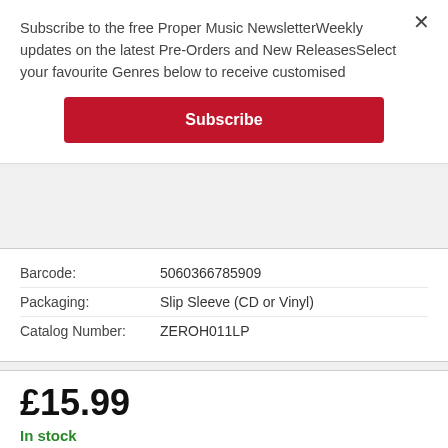Subscribe to the free Proper Music NewsletterWeekly updates on the latest Pre-Orders and New ReleasesSelect your favourite Genres below to receive customised
Subscribe
| Field | Value |
| --- | --- |
| Barcode: | 5060366785909 |
| Packaging: | Slip Sleeve (CD or Vinyl) |
| Catalog Number: | ZEROH011LP |
£15.99
In stock
Fast delivery & returns worldwide
QTY: 1
ADD TO BASKET